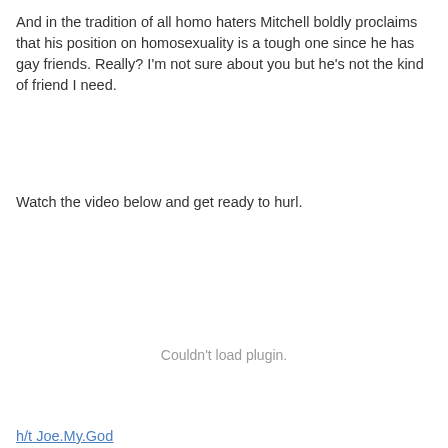And in the tradition of all homo haters Mitchell boldly proclaims that his position on homosexuality is a tough one since he has gay friends. Really? I'm not sure about you but he's not the kind of friend I need.
Watch the video below and get ready to hurl.
[Figure (other): Embedded video plugin area showing 'Couldn't load plugin.' error message]
h/t Joe.My.God